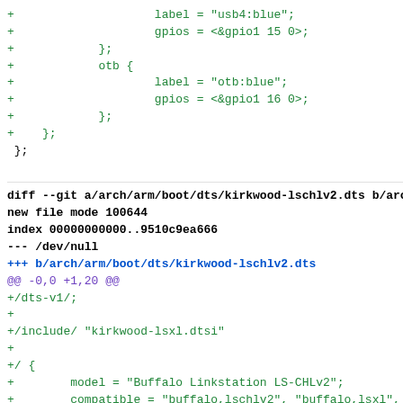Code diff showing git changes to kirkwood-lschlv2.dts device tree file, with additions for USB and OTB gpio labels and new file creation.